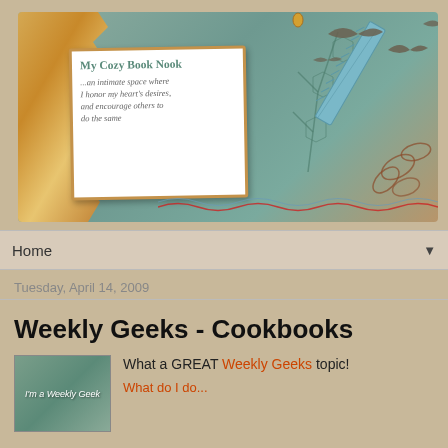[Figure (illustration): Blog header banner for 'My Cozy Book Nook' featuring a collage-style image with torn paper textures, teal/rust colors, a white note card with the blog name and subtitle, decorative elements including a comb, plant patterns, red stitching, and bird silhouettes flying in the upper right.]
Home ▼
Tuesday, April 14, 2009
Weekly Geeks - Cookbooks
[Figure (illustration): Small thumbnail image showing text 'I'm a Weekly Geek' on a teal/green background]
What a GREAT Weekly Geeks topic!
What do I do... [continues off page]